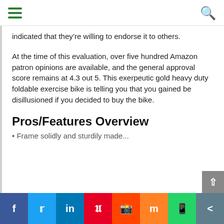indicated that they’re willing to endorse it to others.
At the time of this evaluation, over five hundred Amazon patron opinions are available, and the general approval score remains at 4.3 out 5. This exerpeutic gold heavy duty foldable exercise bike is telling you that you gained be disillusioned if you decided to buy the bike.
Pros/Features Overview
Frame solidly and sturdily made...